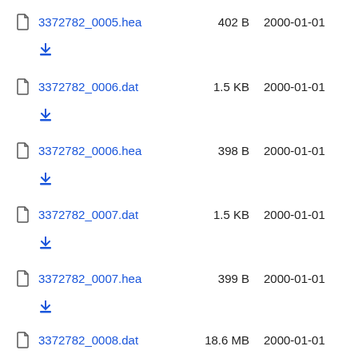3372782_0005.hea  402 B  2000-01-01
3372782_0006.dat  1.5 KB  2000-01-01
3372782_0006.hea  398 B  2000-01-01
3372782_0007.dat  1.5 KB  2000-01-01
3372782_0007.hea  399 B  2000-01-01
3372782_0008.dat  18.6 MB  2000-01-01
3372782_0008.hea  399 B  2000-01-01
3372782_0009.dat  238.8 KB  2000-01-01